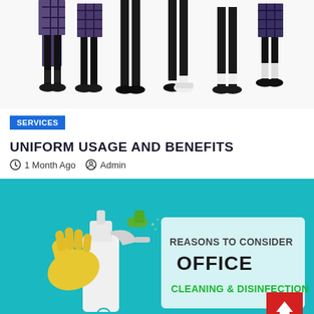[Figure (photo): Legs and feet of several students wearing school uniforms — kilts, dark trousers, black shoes and socks, on a white background]
SERVICES
UNIFORM USAGE AND BENEFITS
1 Month Ago   Admin
[Figure (photo): A gloved hand holding a spray bottle on a teal background. Text overlay reads: REASONS TO CONSIDER OFFICE CLEANING & DISINFECTION. EGS GROUP logo visible at bottom left.]